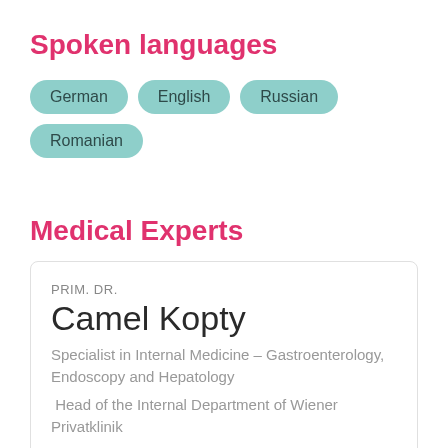Spoken languages
German
English
Russian
Romanian
Medical Experts
PRIM. DR.
Camel Kopty
Specialist in Internal Medicine – Gastroenterology, Endoscopy and Hepatology
Head of the Internal Department of Wiener Privatklinik
German
English
Specialist in Internal Medicine, Gastroenterologie